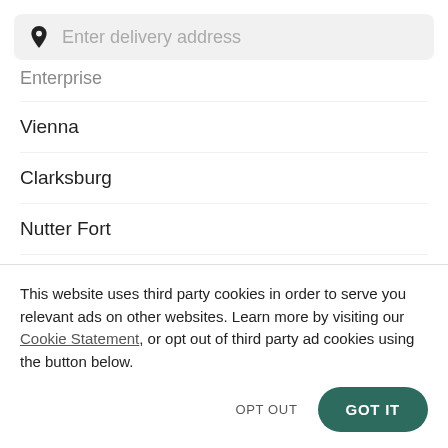[Figure (screenshot): Search bar with location pin icon and placeholder text 'Enter delivery address']
Enterprise
Vienna
Clarksburg
Nutter Fort
Parkersburg
Elizab...
This website uses third party cookies in order to serve you relevant ads on other websites. Learn more by visiting our Cookie Statement, or opt out of third party ad cookies using the button below.
OPT OUT
GOT IT